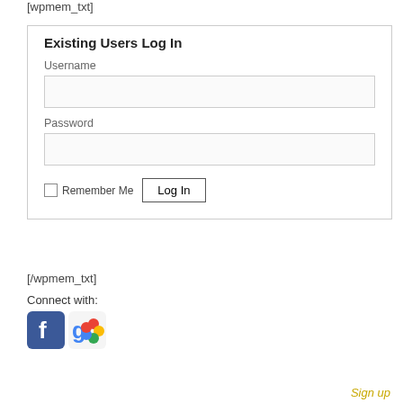[wpmem_txt]
Existing Users Log In
Username
Password
Remember Me
[/wpmem_txt]
Connect with:
[Figure (logo): Facebook logo icon (blue square with white f)]
[Figure (logo): Google+ logo icon (colorful g)]
Sign up